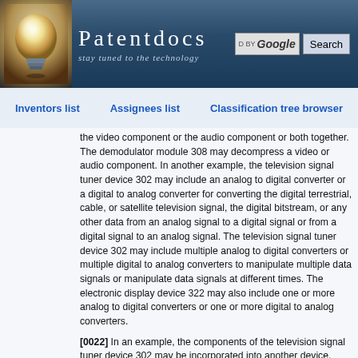Patentdocs - stay tuned to the technology
Inventors list   Assignees list   Classification tree browser
the video component or the audio component or both together. The demodulator module 308 may decompress a video or audio component. In another example, the television signal tuner device 302 may include an analog to digital converter or a digital to analog converter for converting the digital terrestrial, cable, or satellite television signal, the digital bitstream, or any other data from an analog signal to a digital signal or from a digital signal to an analog signal. The television signal tuner device 302 may include multiple analog to digital converters or multiple digital to analog converters to manipulate multiple data signals or manipulate data signals at different times. The electronic display device 322 may also include one or more analog to digital converters or one or more digital to analog converters.
[0022] In an example, the components of the television signal tuner device 302 may be incorporated into another device, such as a digital video disc (DVD) player, Blu-ray player, a video